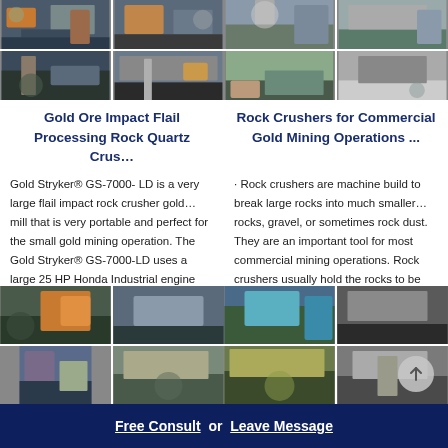[Figure (photo): Grid of 4 mining/rock crusher photos - left column top]
[Figure (photo): Grid of 4 mining/rock crusher photos - right column top]
Gold Ore Impact Flail Processing Rock Quartz Crus…
Rock Crushers for Commercial Gold Mining Operations ...
Gold Stryker® GS-7000- LD is a very large flail impact rock crusher gold… mill that is very portable and perfect for the small gold mining operation. The Gold Stryker® GS-7000-LD uses a large 25 HP Honda Industrial engine
· Rock crushers are machine build to break large rocks into much smaller… rocks, gravel, or sometimes rock dust. They are an important tool for most commercial mining operations. Rock crushers usually hold the rocks to be
[Figure (photo): Grid of mining machinery photos - left column bottom]
[Figure (photo): Grid of mining machinery photos - right column bottom]
Free Consult  or  Leave Message